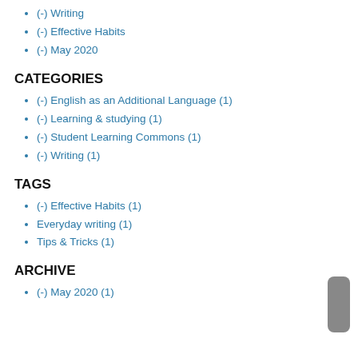(-) Writing
(-) Effective Habits
(-) May 2020
CATEGORIES
(-) English as an Additional Language (1)
(-) Learning & studying (1)
(-) Student Learning Commons (1)
(-) Writing (1)
TAGS
(-) Effective Habits (1)
Everyday writing (1)
Tips & Tricks (1)
ARCHIVE
(-) May 2020 (1)